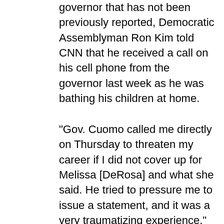governor that has not been previously reported, Democratic Assemblyman Ron Kim told CNN that he received a call on his cell phone from the governor last week as he was bathing his children at home.
"Gov. Cuomo called me directly on Thursday to threaten my career if I did not cover up for Melissa [DeRosa] and what she said. He tried to pressure me to issue a statement, and it was a very traumatizing experience," Kim said. Cuomo proceeded to tell the assemblyman that "we're in this business together and we don't cross certain lines and he said I hadn't seen his wrath and that he can destroy me," according to Kim...
DeRosa is a top aide to the governor who came under fire last week after she told state lawmakers in a private virtual meeting that the state had delayed sharing with the legislature the full scope of the Covid-related death toll of New York's nursing home residents because of concerns about a potential federal investigation